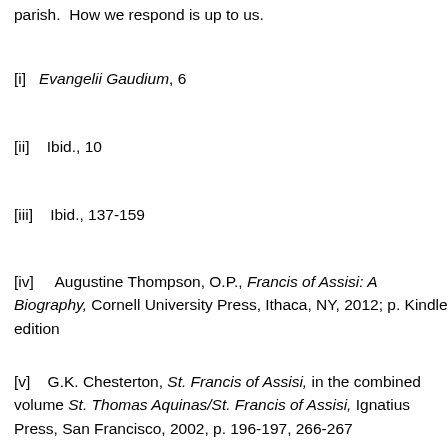parish.  How we respond is up to us.
[i]   Evangelii Gaudium, 6
[ii]    Ibid., 10
[iii]    Ibid., 137-159
[iv]     Augustine Thompson, O.P., Francis of Assisi: A Biography, Cornell University Press, Ithaca, NY, 2012; p. Kindle edition
[v]    G.K. Chesterton, St. Francis of Assisi, in the combined volume St. Thomas Aquinas/St. Francis of Assisi, Ignatius Press, San Francisco, 2002, p. 196-197, 266-267